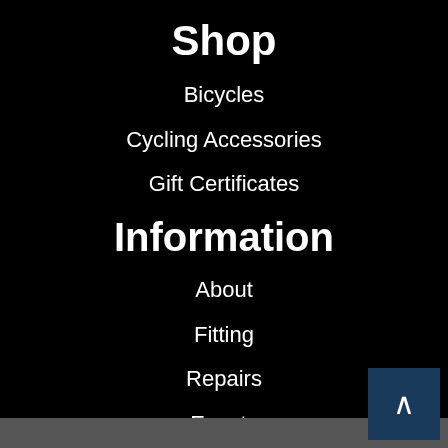Shop
Bicycles
Cycling Accessories
Gift Certificates
Information
About
Fitting
Repairs
Events
Contact Us